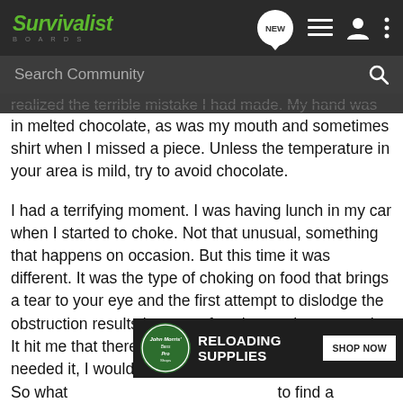Survivalist Boards - navigation header with NEW, list, user, and menu icons
Search Community
realized the terrible mistake I had made. My hand was covered in melted chocolate, as was my mouth and sometimes shirt when I missed a piece. Unless the temperature in your area is mild, try to avoid chocolate.
I had a terrifying moment. I was having lunch in my car when I started to choke. Not that unusual, something that happens on occasion. But this time it was different. It was the type of choking on food that brings a tear to your eye and the first attempt to dislodge the obstruction results in more of a wheeze than a couch. It hit me that there was no one around to help me if I needed it, I wouldn't be able physically find someone, and no one would find me for some time. I had to slow down, take smaller bites, and chew my food a bit more.
[Figure (screenshot): Bass Pro Shops advertisement banner: RELOADING SUPPLIES - SHOP NOW]
So what                                                                       to find a